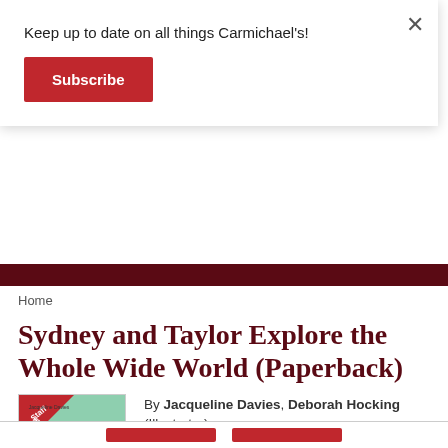Keep up to date on all things Carmichael's!
Subscribe
×
Home
Sydney and Taylor Explore the Whole Wide World (Paperback)
[Figure (photo): Book cover of Sydney and Taylor Explore the Whole Wide World, showing a skunk and a hedgehog with a 'Staff Pick' banner.]
By Jacqueline Davies, Deborah Hocking (Illustrator)
$6.99